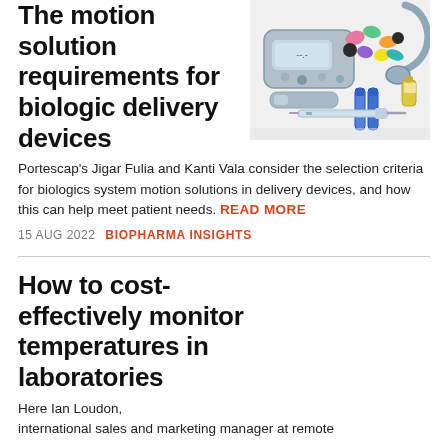The motion solution requirements for biologic delivery devices
[Figure (photo): Photo of medical devices including a glucose meter, colorful pills, syringes, and a stethoscope on a white background]
Portescap's Jigar Fulia and Kanti Vala consider the selection criteria for biologics system motion solutions in delivery devices, and how this can help meet patient needs. READ MORE
15 AUG 2022   BIOPHARMA INSIGHTS
How to cost-effectively monitor temperatures in laboratories
Here Ian Loudon, international sales and marketing manager at remote